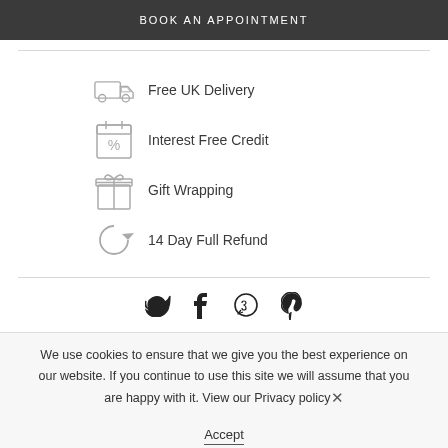BOOK AN APPOINTMENT
[Figure (infographic): Four feature icons with labels: Free UK Delivery (van icon), Interest Free Credit (calendar/% icon), Gift Wrapping (gift box icon), 14 Day Full Refund (refresh arrows icon)]
[Figure (infographic): Social media icons: Twitter (bird), Facebook (f), WhatsApp (chat bubble), Pinterest (P)]
We use cookies to ensure that we give you the best experience on our website. If you continue to use this site we will assume that you are happy with it. View our Privacy policy
Accept